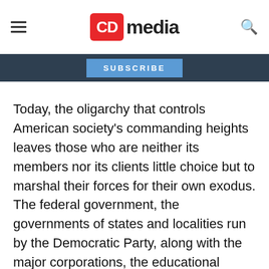CD media
SUBSCRIBE
Today, the oligarchy that controls American society's commanding heights leaves those who are neither its members nor its clients little choice but to marshal their forces for their own exodus. The federal government, the governments of states and localities run by the Democratic Party, along with the major corporations, the educational establishment, and the news media set strict but movable boundaries about what they may may not say—on pain of being cast out, isolated from